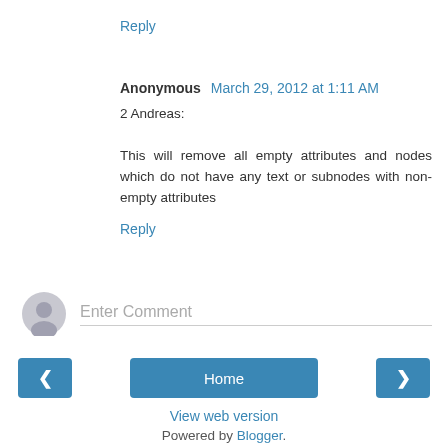Reply
Anonymous  March 29, 2012 at 1:11 AM
2 Andreas:
This will remove all empty attributes and nodes which do not have any text or subnodes with non-empty attributes
Reply
Enter Comment
Home
View web version
Powered by Blogger.